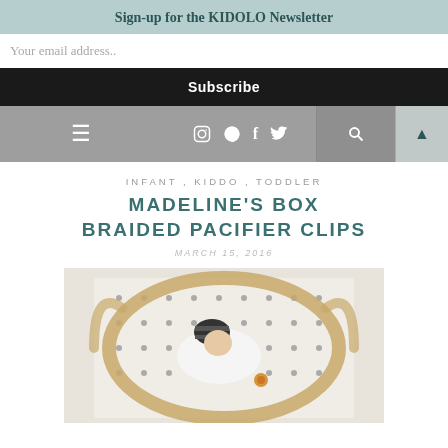Sign-up for the KIDOLO Newsletter
Your email address..
Subscribe
INFANT , KIDDO , TODDLER
MADELINE'S BOX BRAIDED PACIFIER CLIPS
MARCH 15, 2016
[Figure (photo): Newborn baby in a woven basket on a polka dot blanket, wearing a striped hat, with a pacifier clip visible]